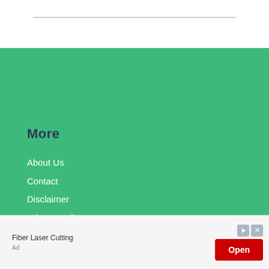More
About Us
Contact
Disclaimer
Privacy Policy
Terms & Conditions
Guest Post Request
AFFILIATE DISCLOSURE
[Figure (other): Advertisement banner: Fiber Laser Cutting with Open button]